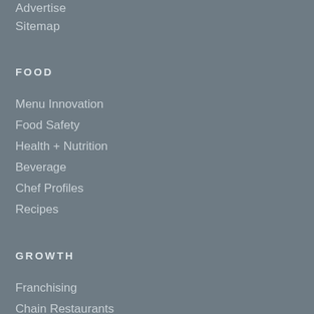Advertise
Sitemap
FOOD
Menu Innovation
Food Safety
Health + Nutrition
Beverage
Chef Profiles
Recipes
GROWTH
Franchising
Chain Restaurants